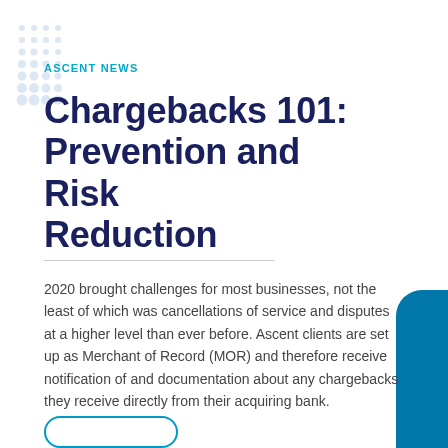ASCENT NEWS
Chargebacks 101: Prevention and Risk Reduction
2020 brought challenges for most businesses, not the least of which was cancellations of service and disputes at a higher level than ever before. Ascent clients are set up as Merchant of Record (MOR) and therefore receive notification of and documentation about any chargebacks they receive directly from their acquiring bank.